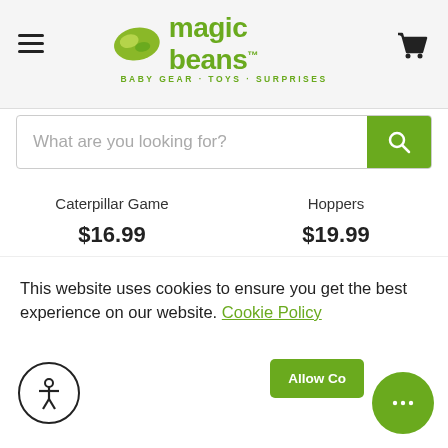[Figure (screenshot): Magic Beans website header with logo (green bean icon and 'magic beans' text), hamburger menu icon on left, shopping cart icon on right, tagline 'BABY GEAR · TOYS · SURPRISES']
[Figure (screenshot): Search bar with placeholder text 'What are you looking for?' and green search button]
Caterpillar Game
$16.99
Hoppers
$19.99
[Figure (infographic): Green section with 'INDEPENDENTLY OWNED since 2004' and 'LIFETIME of support' icons on green background]
This website uses cookies to ensure you get the best experience on our website. Cookie Policy
Allow Co...
of ecstatic customers
on orders $99+